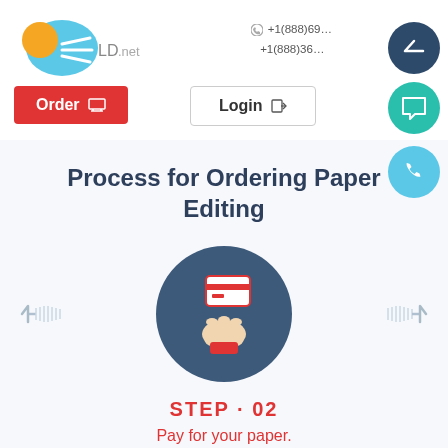[Figure (logo): Speedwriting/editing service logo: blue character with orange circle and speed lines, with text 'LD.net']
+1(888)69...
+1(888)36...
Order
Login
[Figure (infographic): Dark teal circle button with upward chevron arrow (scroll to top)]
[Figure (infographic): Green circle button with chat/speech bubble icon]
[Figure (infographic): Light blue circle button with phone icon]
Process for Ordering Paper Editing
[Figure (infographic): Carousel showing Step 02: a dark steel-blue circle containing an icon of a hand holding a credit card. Left and right navigation arrows flank the circle.]
STEP · 02
Pay for your paper.